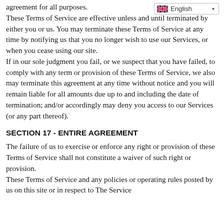agreement for all purposes.
These Terms of Service are effective unless and until terminated by either you or us. You may terminate these Terms of Service at any time by notifying us that you no longer wish to use our Services, or when you cease using our site.
If in our sole judgment you fail, or we suspect that you have failed, to comply with any term or provision of these Terms of Service, we also may terminate this agreement at any time without notice and you will remain liable for all amounts due up to and including the date of termination; and/or accordingly may deny you access to our Services (or any part thereof).
SECTION 17 - ENTIRE AGREEMENT
The failure of us to exercise or enforce any right or provision of these Terms of Service shall not constitute a waiver of such right or provision.
These Terms of Service and any policies or operating rules posted by us on this site or in respect to The Service